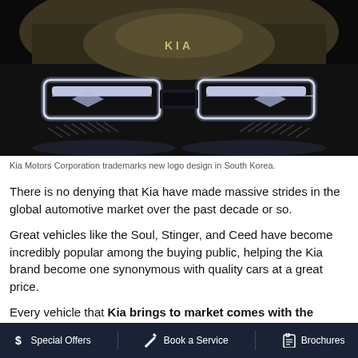[Figure (photo): Front view of a Kia concept car with distinctive rectangular LED headlights and KIA logo on a dark background]
Kia Motors Corporation trademarks new logo design in South Korea.
There is no denying that Kia have made massive strides in the global automotive market over the past decade or so.
Great vehicles like the Soul, Stinger, and Ceed have become incredibly popular among the buying public, helping the Kia brand become one synonymous with quality cars at a great price.
Every vehicle that Kia brings to market comes with the
$ Special Offers   🔧 Book a Service   🔔 Brochures